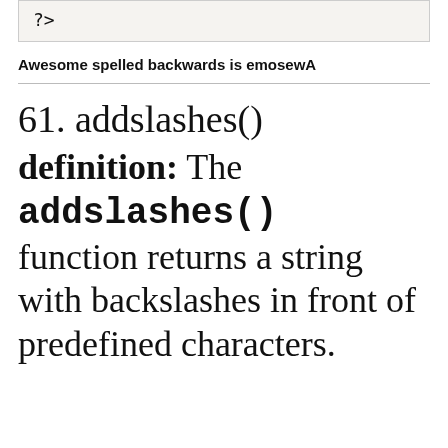?>
Awesome spelled backwards is emosewA
61. addslashes()
definition: The addslashes() function returns a string with backslashes in front of predefined characters.